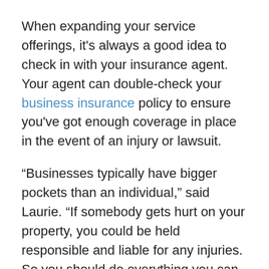When expanding your service offerings, it's always a good idea to check in with your insurance agent. Your agent can double-check your business insurance policy to ensure you've got enough coverage in place in the event of an injury or lawsuit.
“Businesses typically have bigger pockets than an individual,” said Laurie. “If somebody gets hurt on your property, you could be held responsible and liable for any injuries. So you should do everything you can to limit your liability exposure.”
If you’re an Erie Insurance customer, you have access to assistance from a risk control consultant who can work with you to evaluate the potential risks your business